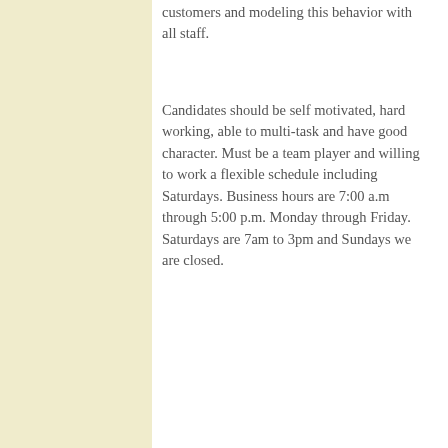customers and modeling this behavior with all staff.
Candidates should be self motivated, hard working, able to multi-task and have good character. Must be a team player and willing to work a flexible schedule including Saturdays. Business hours are 7:00 a.m through 5:00 p.m. Monday through Friday. Saturdays are 7am to 3pm and Sundays we are closed.
Muskegon
Bakery Hours
COVID-19 Hours: Mon - Fri: 7 am to 5 pm
COVID- 19 Hours: Sat: 7 am to 3 pm & Sun: Closed
Café Hours
COVID-19: CLOSED - Grab and